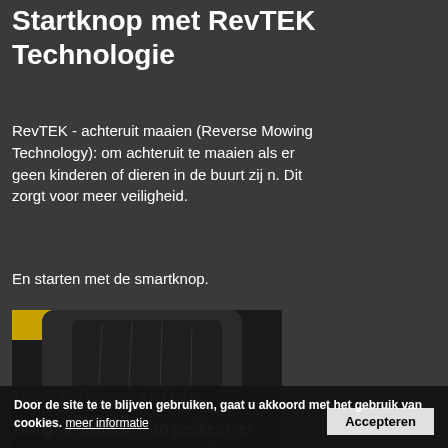Startknop met RevTEK Technologie
RevTEK - achteruit maaien (Reverse Mowing Technology): om achteruit te maaien als er geen kinderen of dieren in de buurt zijn. Dit zorgt voor meer veiligheid.
En starten met de smartknop.
[Figure (photo): A hand pressing or adjusting a black seat or panel component on a yellow lawn mower. The image shows the underside of the seat being pulled or adjusted.]
Verstelbare zitting
Zitting verstelbaar in 10 posities met
Door de site te te blijven gebruiken, gaat u akkoord met het gebruik van cookies. meer informatie